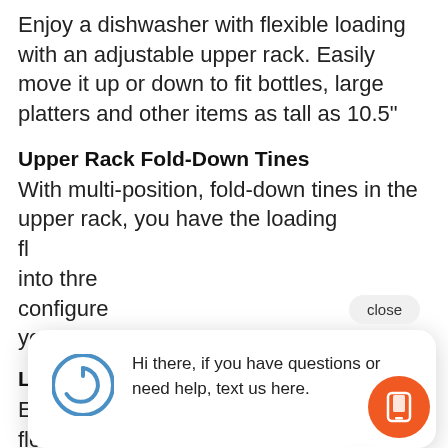Enjoy a dishwasher with flexible loading with an adjustable upper rack. Easily move it up or down to fit bottles, large platters and other items as tall as 10.5"
Upper Rack Fold-Down Tines
With multi-position, fold-down tines in the upper rack, you have the loading fl... into thre... configure... you can w...
[Figure (screenshot): Chat popup overlay with power icon and message: 'Hi there, if you have questions or need help, text us here.' with a close button and orange mobile chat button]
Lower Rack Fold-Down Tines
Enjoy next-level this loading flexibility dishwasher thanks to multi-position,